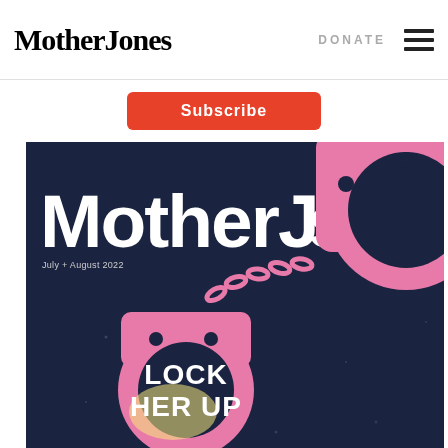Mother Jones | DONATE
Subscribe
[Figure (illustration): Mother Jones magazine cover for July + August 2022, featuring large white 'MotherJones' text over a dark navy background with large pink illustrated handcuffs, with text 'LOCK HER UP' inside the handcuff ring.]